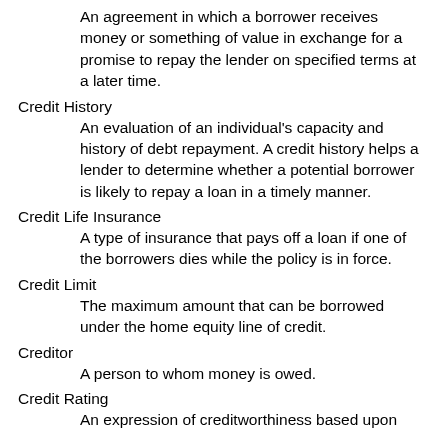An agreement in which a borrower receives money or something of value in exchange for a promise to repay the lender on specified terms at a later time.
Credit History
An evaluation of an individual's capacity and history of debt repayment. A credit history helps a lender to determine whether a potential borrower is likely to repay a loan in a timely manner.
Credit Life Insurance
A type of insurance that pays off a loan if one of the borrowers dies while the policy is in force.
Credit Limit
The maximum amount that can be borrowed under the home equity line of credit.
Creditor
A person to whom money is owed.
Credit Rating
An expression of creditworthiness based upon